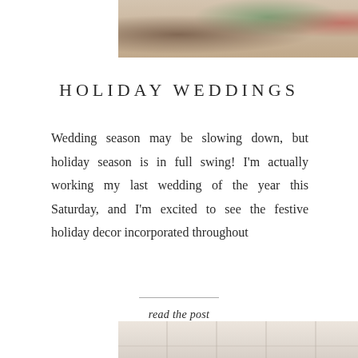[Figure (photo): Top portion of a wedding photo showing holiday-themed table decor with greenery, red florals, and what appears to be a wedding invitation card]
HOLIDAY WEDDINGS
Wedding season may be slowing down, but holiday season is in full swing! I'm actually working my last wedding of the year this Saturday, and I'm excited to see the festive holiday decor incorporated throughout
read the post
[Figure (photo): Bottom portion showing a light-colored marble or stone textured surface, partial view of another wedding or event related image]